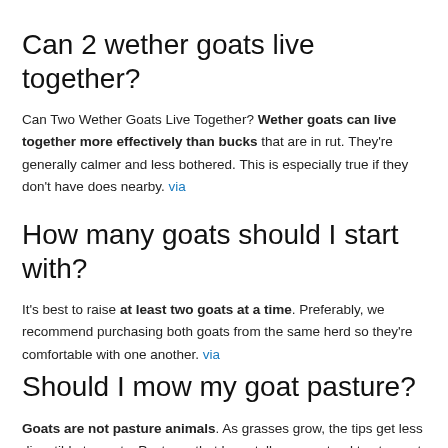Can 2 wether goats live together?
Can Two Wether Goats Live Together? Wether goats can live together more effectively than bucks that are in rut. They're generally calmer and less bothered. This is especially true if they don't have does nearby. via
How many goats should I start with?
It's best to raise at least two goats at a time. Preferably, we recommend purchasing both goats from the same herd so they're comfortable with one another. via
Should I mow my goat pasture?
Goats are not pasture animals. As grasses grow, the tips get less digestible to goats. Pastures that have tall grasses tend to stay wet